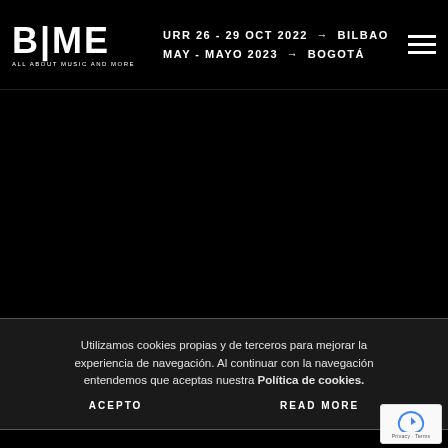BIME ALL ABOUT MUSIC AND MORE | URR 26-29 OCT 2022 → BILBAO | MAY-MAYO 2023 → BOGOTÁ
Utilizamos cookies propias y de terceros para mejorar la experiencia de navegación. Al continuar con la navegación entendemos que aceptas nuestra Política de cookies.
ACEPTO   READ MORE